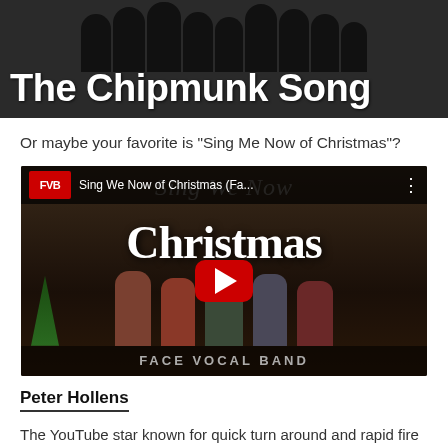[Figure (screenshot): Video thumbnail with title 'The Chipmunk Song' displayed in large white bold text over dark silhouette background]
Or maybe your favorite is “Sing Me Now of Christmas”?
[Figure (screenshot): YouTube video thumbnail for 'Sing We Now of Christmas (Fa...' by Face Vocal Band, showing five men singing in front of a building, with YouTube play button overlay and 'Christmas' text]
Peter Hollens
The YouTube star known for quick turn around and rapid fire content took SEVEN years to make this video. Don't